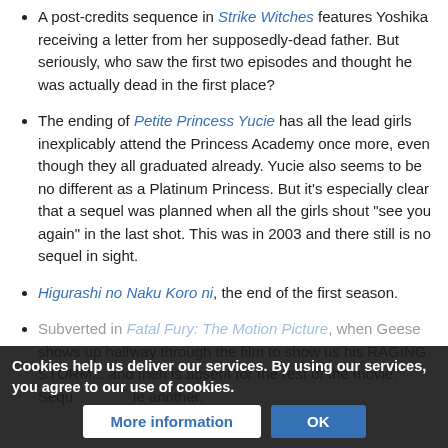A post-credits sequence in Strike Witches features Yoshika receiving a letter from her supposedly-dead father. But seriously, who saw the first two episodes and thought he was actually dead in the first place?
The ending of Petite Princess Yucie has all the lead girls inexplicably attend the Princess Academy once more, even though they all graduated already. Yucie also seems to be no different as a Platinum Princess. But it's especially clear that a sequel was planned when all the girls shout "see you again" in the last shot. This was in 2003 and there still is no sequel in sight.
Higurashi no Naku Koro ni, the end of the first season.
Subverted in Fatal Fury: The Motion Picture, when Geese shows up halfway through the film to show us his RAGING STORM... and then is absent for the rest of the movie. Sequ... ...le another.
Cookies help us deliver our services. By using our services, you agree to our use of cookies.
More information | OK